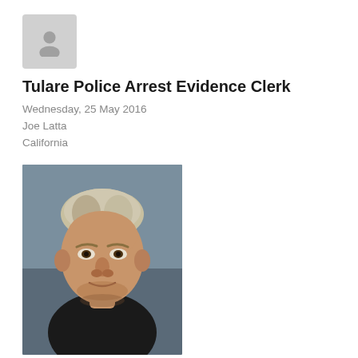[Figure (photo): Generic user/avatar placeholder icon in gray rounded square]
Tulare Police Arrest Evidence Clerk
Wednesday, 25 May 2016
Joe Latta
California
[Figure (photo): Mugshot photo of a middle-aged white male with short gray/blonde hair wearing a dark shirt, against a gray-blue background]
A Tulare Police Department evidence technician was arrested on suspicion of tampering, embezzlement and drugs. 8:53 a.m. PDT April 30, 2016 Police department command staff initiated an investigation into evidence housing and officers according this case. After initial